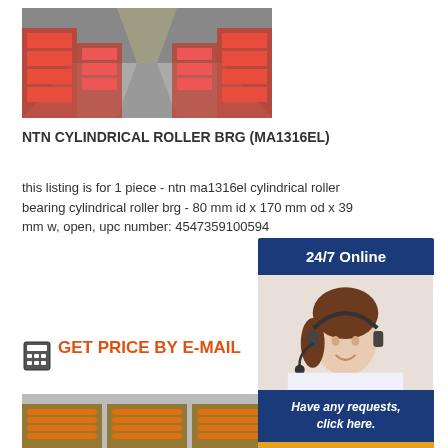[Figure (photo): Warehouse aisle with red-labeled boxes stacked on pallets on both sides]
NTN CYLINDRICAL ROLLER BRG (MA1316EL)
this listing is for 1 piece - ntn ma1316el cylindrical roller bearing cylindrical roller brg - 80 mm id x 170 mm od x 39 mm w, open, upc number: 4547359100594
GET PRICE BY E-MAIL
[Figure (photo): Boxes of orange cylindrical roller bearings in open cardboard packaging]
[Figure (infographic): 24/7 Online customer service sidebar with agent photo, Have any requests click here text, and Quotation button]